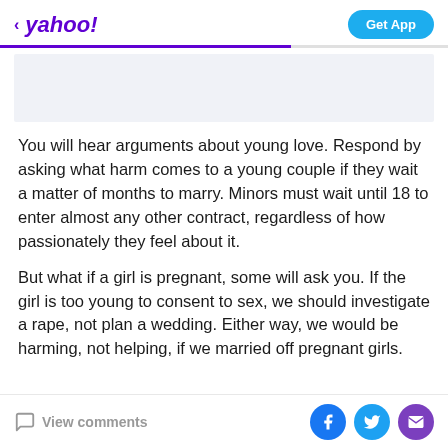< yahoo!   Get App
[Figure (other): Light gray advertisement placeholder rectangle]
You will hear arguments about young love. Respond by asking what harm comes to a young couple if they wait a matter of months to marry. Minors must wait until 18 to enter almost any other contract, regardless of how passionately they feel about it.
But what if a girl is pregnant, some will ask you. If the girl is too young to consent to sex, we should investigate a rape, not plan a wedding. Either way, we would be harming, not helping, if we married off pregnant girls.
View comments